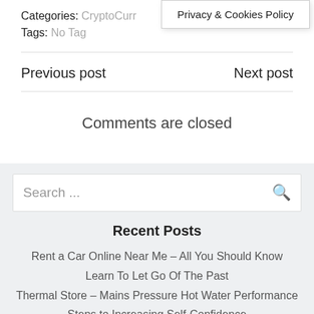Privacy & Cookies Policy
Categories: CryptoCurr...
Tags: No Tag
Previous post
Next post
Comments are closed
Search ...
Recent Posts
Rent a Car Online Near Me – All You Should Know
Learn To Let Go Of The Past
Thermal Store – Mains Pressure Hot Water Performance
Steps to Increasing Self-Confidence
The Essential Stages for Developing a Fantastic Small Business